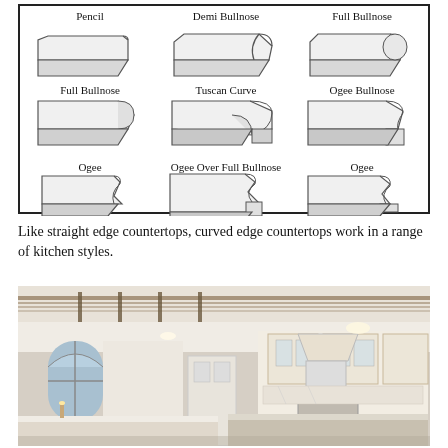[Figure (illustration): Six countertop edge profile illustrations in a 2-row, 3-column grid inside a bordered box. Row 1: Pencil, Demi Bullnose, Full Bullnose. Row 2: Full Bullnose, Tuscan Curve, Ogee Bullnose. Row 3 labels: Ogee, Ogee Over Full Bullnose, Ogee.]
Like straight edge countertops, curved edge countertops work in a range of kitchen styles.
[Figure (photo): Photo of a large, elegant white traditional kitchen with two islands, marble countertops, arched window, exposed upper-level railing, and professional-grade range with decorative hood.]